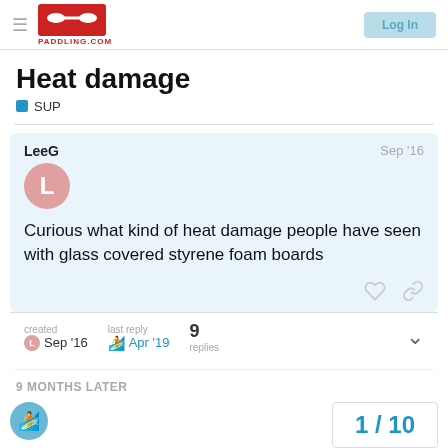PADDLING.COM — Log In
Heat damage
SUP
LeeG  Sep '16
Curious what kind of heat damage people have seen with glass covered styrene foam boards
created Sep '16   last reply Apr '19   9 replies
9 MONTHS LATER
1 / 10